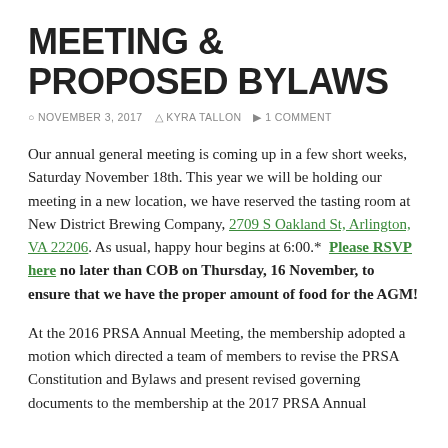MEETING & PROPOSED BYLAWS
NOVEMBER 3, 2017   KYRA TALLON   1 COMMENT
Our annual general meeting is coming up in a few short weeks, Saturday November 18th. This year we will be holding our meeting in a new location, we have reserved the tasting room at New District Brewing Company, 2709 S Oakland St, Arlington, VA 22206. As usual, happy hour begins at 6:00.* Please RSVP here no later than COB on Thursday, 16 November, to ensure that we have the proper amount of food for the AGM!
At the 2016 PRSA Annual Meeting, the membership adopted a motion which directed a team of members to revise the PRSA Constitution and Bylaws and present revised governing documents to the membership at the 2017 PRSA Annual